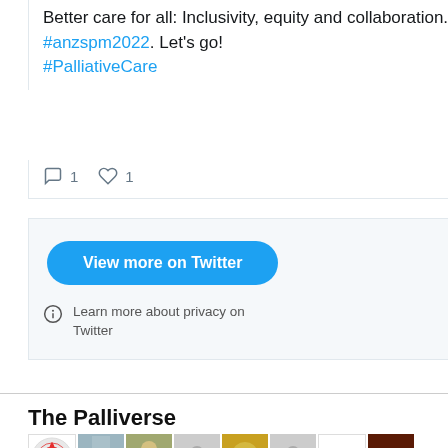Better care for all: Inclusivity, equity and collaboration. #anzspm2022. Let's go! #PalliativeCare
1  1
[Figure (screenshot): Twitter 'View more on Twitter' blue button]
Learn more about privacy on Twitter
The Palliverse
[Figure (photo): Grid of social media avatar photos, 8 columns wide, 3 rows visible. Includes profile pictures of various people and logos.]